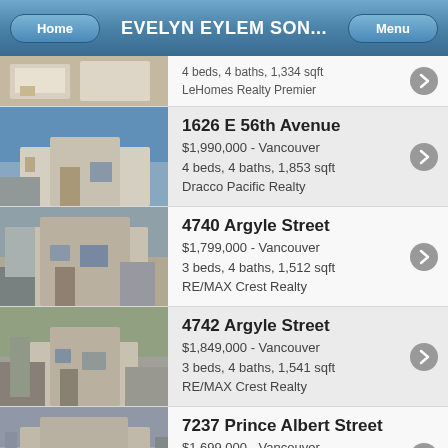EVELYN EYLEM SON...
4 beds, 4 baths, 1,334 sqft
LeHomes Realty Premier
1626 E 56th Avenue
$1,990,000 - Vancouver
4 beds, 4 baths, 1,853 sqft
Dracco Pacific Realty
4740 Argyle Street
$1,799,000 - Vancouver
3 beds, 4 baths, 1,512 sqft
RE/MAX Crest Realty
4742 Argyle Street
$1,849,000 - Vancouver
3 beds, 4 baths, 1,541 sqft
RE/MAX Crest Realty
7237 Prince Albert Street
$1,699,000 - Vancouver
4 beds, 4 baths, 1,900 sqft
Team 3000 Realty Ltd.
771 E 30th Avenue
$1,699,900 - Vancouver
3 beds, 4 baths, 1,503 sqft